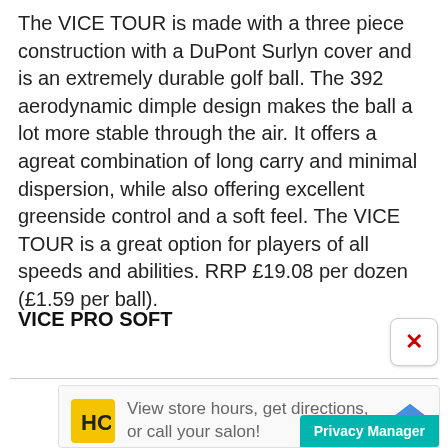The VICE TOUR is made with a three piece construction with a DuPont Surlyn cover and is an extremely durable golf ball. The 392 aerodynamic dimple design makes the ball a lot more stable through the air. It offers a agreat combination of long carry and minimal dispersion, while also offering excellent greenside control and a soft feel. The VICE TOUR is a great option for players of all speeds and abilities. RRP £19.08 per dozen (£1.59 per ball).
VICE PRO SOFT
[Figure (screenshot): Advertisement banner with HC logo, text 'View store hours, get directions, or call your salon!', a blue diamond map/directions icon, and a teal Privacy Manager button in the bottom right corner.]